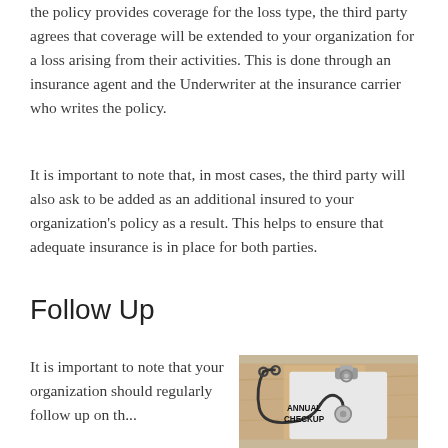the policy provides coverage for the loss type, the third party agrees that coverage will be extended to your organization for a loss arising from their activities. This is done through an insurance agent and the Underwriter at the insurance carrier who writes the policy.
It is important to note that, in most cases, the third party will also ask to be added as an additional insured to your organization's policy as a result. This helps to ensure that adequate insurance is in place for both parties.
Follow Up
It is important to note that your organization should regularly follow up on th...
[Figure (photo): Photo of a clipboard with a stethoscope on top, showing a document that reads 'ANNUAL CHECKUP' in bold black text, placed on a wooden surface.]